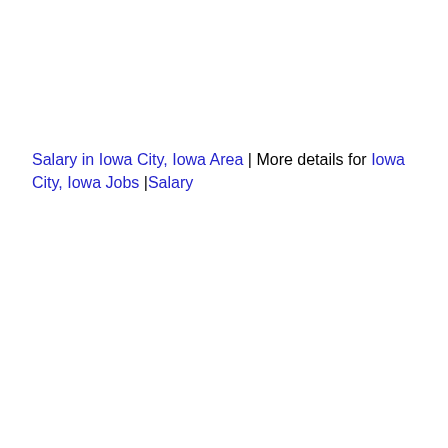Salary in Iowa City, Iowa Area | More details for Iowa City, Iowa Jobs |Salary